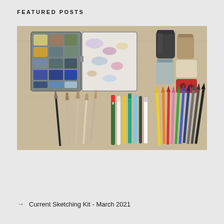FEATURED POSTS
[Figure (photo): Flat lay photograph of art and sketching supplies on a wooden surface, including an open watercolor palette with multiple paint colors, art brushes, pens and markers, colored pencils, jars/containers, an eraser, and a pencil sharpener.]
→  Current Sketching Kit - March 2021